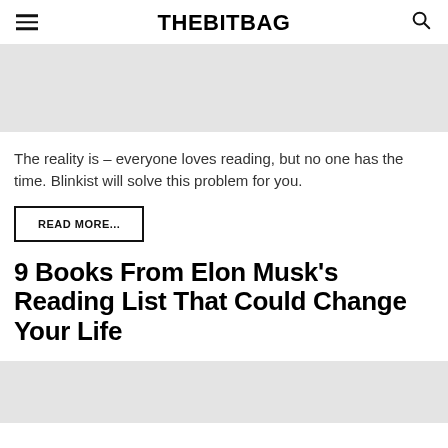THEBITBAG
[Figure (photo): Gray placeholder image at top]
The reality is – everyone loves reading, but no one has the time. Blinkist will solve this problem for you.
READ MORE...
9 Books From Elon Musk's Reading List That Could Change Your Life
[Figure (photo): Gray placeholder image at bottom]